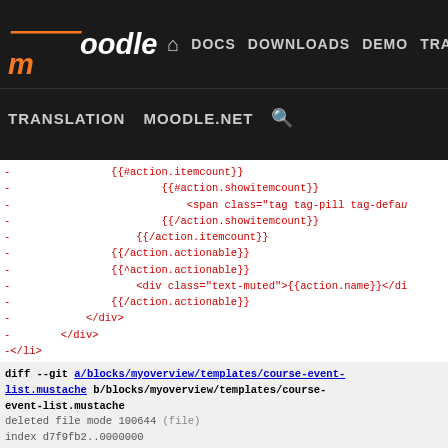moodle DOCS DOWNLOADS DEMO TRACKER DEV | TRANSLATION MOODLE.NET
- {{#action.itemcount}}
- {{#action.showitemcount}}
- <span class="tag tag-pill tag-defau
- {{/action.showitemcount}}
- {{/action.itemcount}}
- {{/action.actionable}}
- {{^action.actionable}}
- <div class="text-muted">{{action.name}}</di
- {{/action.actionable}}
- </div>
- </div>
-</li>
diff --git a/blocks/myoverview/templates/course-event-list.mustache b/blocks/myoverview/templates/course-event-list.mustache
deleted file mode 100644 (file)
index d7f9fb2..0000000
--- a/blocks/myoverview/templates/course-event-list.mustache
+++ /dev/null
@@ -1,110 +0,0 @@
-{{!
-    This file is part of Moodle - http://moodle.org/
-
-    Moodle is free software: you can redistribute it and/or
-    it under the terms of the GNU General Public License